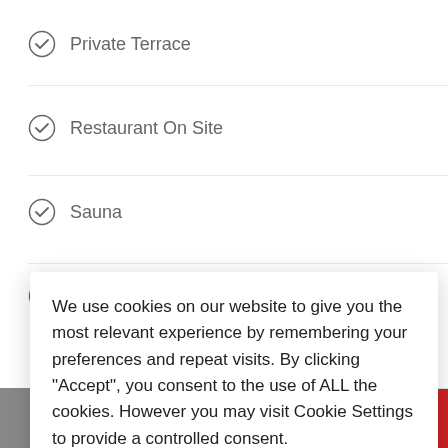Private Terrace
Restaurant On Site
Sauna
Solarium
We use cookies on our website to give you the most relevant experience by remembering your preferences and repeat visits. By clicking “Accept”, you consent to the use of ALL the cookies. However you may visit Cookie Settings to provide a controlled consent.
Cookie settings   ACCEPT